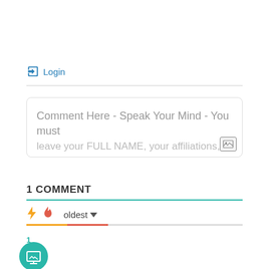Login
Comment Here - Speak Your Mind - You must leave your FULL NAME, your affiliations, and any
1 COMMENT
oldest
1